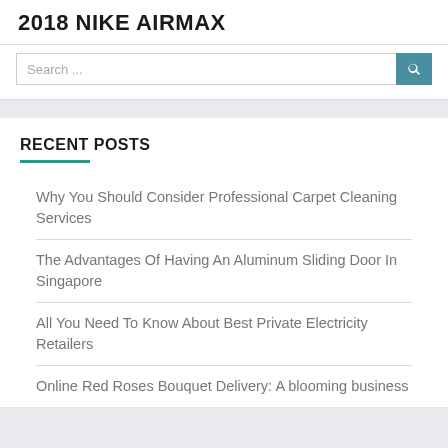2018 NIKE AIRMAX
[Figure (screenshot): Search bar with text placeholder 'Search ...' and a teal search button with magnifying glass icon]
RECENT POSTS
Why You Should Consider Professional Carpet Cleaning Services
The Advantages Of Having An Aluminum Sliding Door In Singapore
All You Need To Know About Best Private Electricity Retailers
Online Red Roses Bouquet Delivery: A blooming business